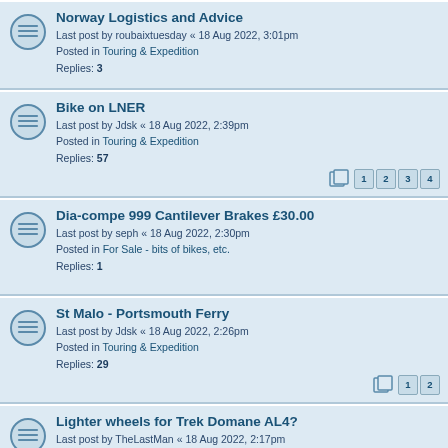Norway Logistics and Advice
Last post by roubaixtuesday « 18 Aug 2022, 3:01pm
Posted in Touring & Expedition
Replies: 3
Bike on LNER
Last post by Jdsk « 18 Aug 2022, 2:39pm
Posted in Touring & Expedition
Replies: 57
Pages: 1 2 3 4
Dia-compe 999 Cantilever Brakes £30.00
Last post by seph « 18 Aug 2022, 2:30pm
Posted in For Sale - bits of bikes, etc.
Replies: 1
St Malo - Portsmouth Ferry
Last post by Jdsk « 18 Aug 2022, 2:26pm
Posted in Touring & Expedition
Replies: 29
Pages: 1 2
Lighter wheels for Trek Domane AL4?
Last post by TheLastMan « 18 Aug 2022, 2:17pm
Posted in Bikes & Bits – Technical section
Trek FX4 Sport 2023 - Heavy for a carbon bike? (so why pay the extra over allu?)
Last post by Vorpal « 18 Aug 2022, 2:02pm
Posted in Bikes & Bits – Technical section